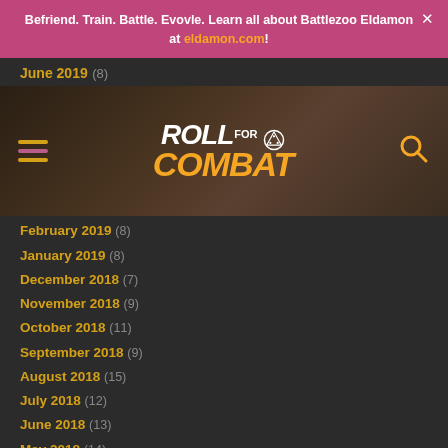Befriend. Train. Battle. Evovle. Learn all about Battlezoo Eldamon at eldamon.com!
[Figure (logo): Roll for Combat website navigation bar with hamburger menu, Roll for Combat logo, and search icon]
June 2019 (8)
February 2019 (8)
January 2019 (8)
December 2018 (7)
November 2018 (9)
October 2018 (11)
September 2018 (9)
August 2018 (15)
July 2018 (12)
June 2018 (13)
May 2018 (14)
April 2018 (10)
March 2018 (11)